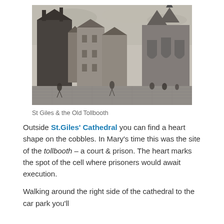[Figure (illustration): Historic engraving/illustration of St Giles Cathedral and the Old Tollbooth in Edinburgh, showing tall stone tenement buildings and the Gothic spire of the cathedral, with figures in period dress on the street below. Black and white etching style.]
St Giles & the Old Tollbooth
Outside St.Giles' Cathedral you can find a heart shape on the cobbles. In Mary's time this was the site of the tollbooth – a court & prison. The heart marks the spot of the cell where prisoners would await execution.
Walking around the right side of the cathedral to the car park you'll